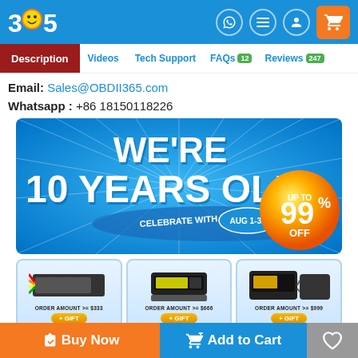[Figure (screenshot): OBDII365 website header with logo, navigation icons and orange cart button]
Description | Videos | Tech Support | FAQs 12 | Reviews 247
Email: Sales@OBDII365.com
Whatsapp : +86 18150118226
[Figure (infographic): Promotional banner: WE'RE 10 YEARS OLD! CELEBRATE WITH US AUG 1-31, UP TO 99% OFF]
[Figure (infographic): Three gift card tiers: ORDER AMOUNT >= $333 + GIFT, ORDER AMOUNT >= $666 + GIFT, ORDER AMOUNT >= $999 + GIFT]
Buy more and Save more ▾